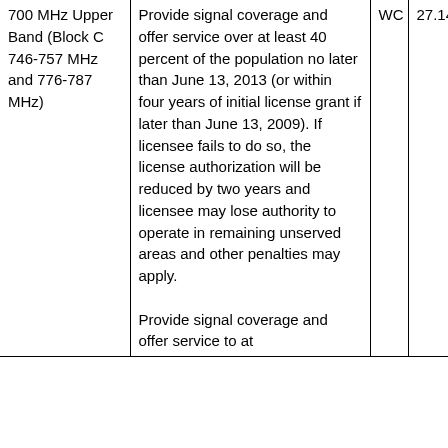| Service/Band | Requirement | Rule Part | Section |
| --- | --- | --- | --- |
| 700 MHz Upper Band (Block C 746-757 MHz and 776-787 MHz) | Provide signal coverage and offer service over at least 40 percent of the population no later than June 13, 2013 (or within four years of initial license grant if later than June 13, 2009). If licensee fails to do so, the license authorization will be reduced by two years and licensee may lose authority to operate in remaining unserved areas and other penalties may apply.

Provide signal coverage and offer service to at | WC | 27.14(i) |